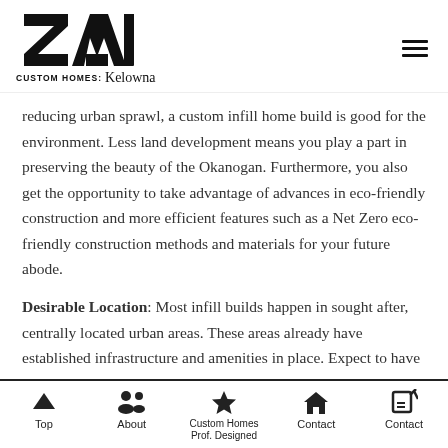CUSTOM HOMES: Kelowna — Navigation menu
reducing urban sprawl, a custom infill home build is good for the environment. Less land development means you play a part in preserving the beauty of the Okanogan. Furthermore, you also get the opportunity to take advantage of advances in eco-friendly construction and more efficient features such as a Net Zero eco-friendly construction methods and materials for your future abode.
Desirable Location: Most infill builds happen in sought after, centrally located urban areas. These areas already have established infrastructure and amenities in place. Expect to have a larger lot with mature trees and a
Top | About | Custom Homes Prof. Designed | Contact